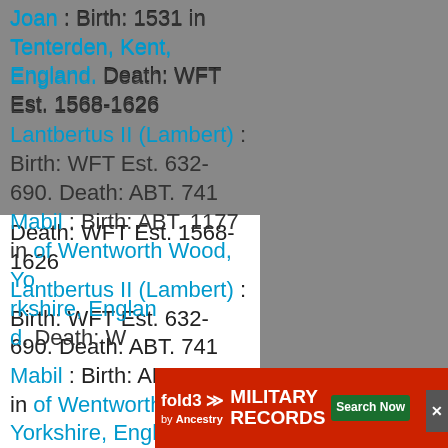Joan : Birth: 1531 in Tenterden, Kent, England. Death: WFT Est. 1568-1626 Lantbertus II (Lambert) : Birth: WFT Est. 632-690. Death: ABT. 741 Mabil : Birth: ABT. 1177 in of Wentworth Wood, Yorkshire, England. Death: W...
[Figure (screenshot): Fold3 Military Records advertisement banner with red background, fold3 logo, 'MILITARY RECORDS' text, Search Now button, and a photo of a soldier]